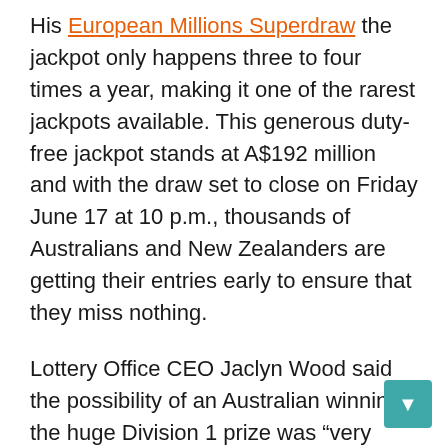His European Millions Superdraw the jackpot only happens three to four times a year, making it one of the rarest jackpots available. This generous duty-free jackpot stands at A$192 million and with the draw set to close on Friday June 17 at 10 p.m., thousands of Australians and New Zealanders are getting their entries early to ensure that they miss nothing.
Lottery Office CEO Jaclyn Wood said the possibility of an Australian winning the huge Division 1 prize was “very exciting for us”.
“This duty-free jackpot doesn’t happen